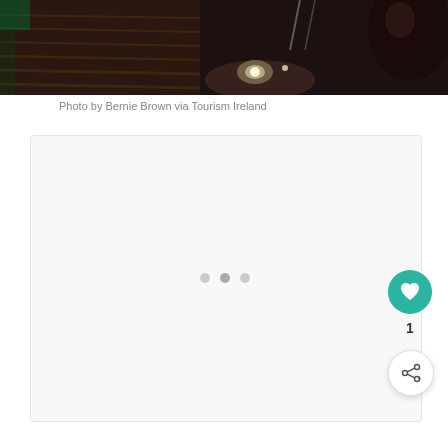[Figure (photo): Night photo of outdoor steps/stairs lit from below with warm lighting, a handrail visible, and a dark spherical sculpture on the right side. Appears to be a tourism or landmark location in Ireland.]
Photo by Bernie Brown via Tourism Ireland
[Figure (other): Empty content loading area with three dots indicating a loading state or carousel placeholder]
[Figure (other): Teal circular button with heart icon (favourite/like) showing count of 1, and a white circular share button below it]